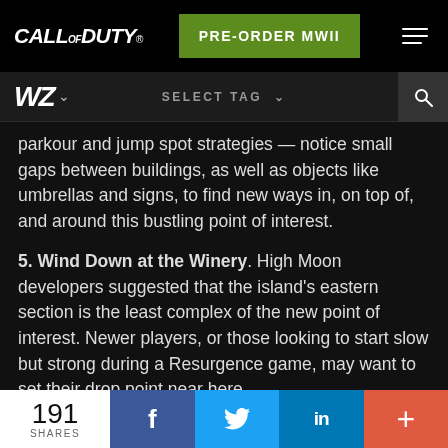[Figure (screenshot): Call of Duty website header with logo, PRE-ORDER MWII green button, and hamburger menu on black background]
[Figure (screenshot): Sub-navigation bar with WZ badge, dropdown chevron, SELECT TAG dropdown, and search icon]
parkour and jump spot strategies — notice small gaps between buildings, as well as objects like umbrellas and signs, to find new ways in, on top of, and around this bustling point of interest.
5. Wind Down at the Winery. High Moon developers suggested that the island's eastern section is the least complex of the new point of interest. Newer players, or those looking to start slow but strong during a Resurgence game, may want to set their drop point near here.
6. See You at the Crossroads. A high-traffic area of the map is a four-way intersection between the Winery, Camp, Lighthouse, and Keep. It's central to traversing the map
[Figure (screenshot): Share bar with 191 SHARES count, Facebook, Twitter, LinkedIn, and plus buttons]